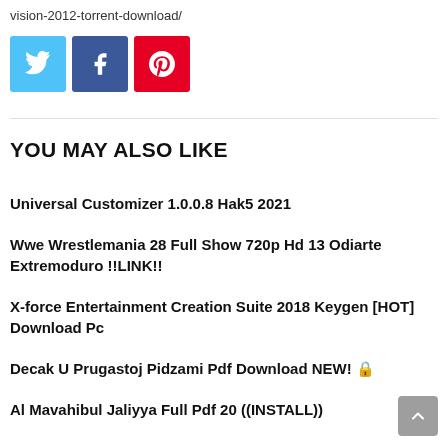vision-2012-torrent-download/
[Figure (other): Social share buttons: Twitter (blue), Facebook (dark blue), Pinterest (red)]
YOU MAY ALSO LIKE
Universal Customizer 1.0.0.8 Hak5 2021
Wwe Wrestlemania 28 Full Show 720p Hd 13 Odiarte Extremoduro !!LINK!!
X-force Entertainment Creation Suite 2018 Keygen [HOT] Download Pc
Decak U Prugastoj Pidzami Pdf Download NEW! 🔒
Al Mavahibul Jaliyya Full Pdf 20 ((INSTALL))